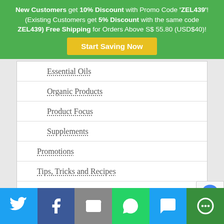New Customers get 10% Discount with Promo Code 'ZEL439'! (Existing Customers get 5% Discount with the same code ZEL439) Free Shipping for Orders Above S$ 55.80 (USD$40)!
Start Saving Now
Essential Oils
Organic Products
Product Focus
Supplements
Promotions
Tips, Tricks and Recipes
Topics
Useful Information